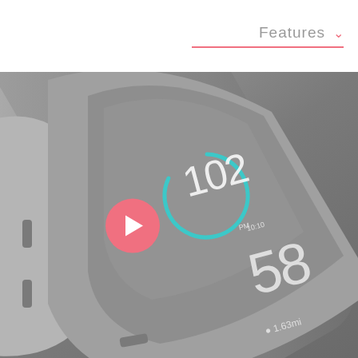Features
[Figure (photo): Close-up of a wearable fitness tracker device showing a teal circular gauge with number 102, time PM, steps count 58, and distance 1.63mi on a grey device body, with a pink play button overlay]